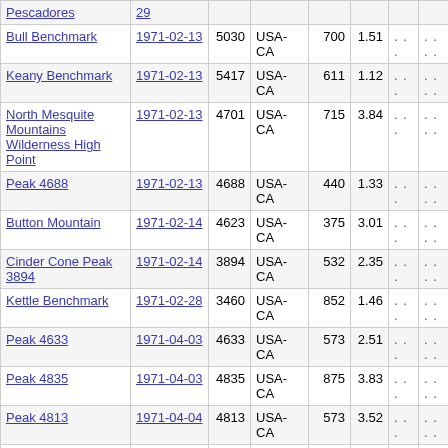| Name | Date | Elev | Country | Prom | Iso |  |  |
| --- | --- | --- | --- | --- | --- | --- | --- |
| Pescadores | 29 |  |  |  |  | ... | .... |
| Bull Benchmark | 1971-02-13 | 5030 | USA-CA | 700 | 1.51 | ... | .... |
| Keany Benchmark | 1971-02-13 | 5417 | USA-CA | 611 | 1.12 | ... | .... |
| North Mesquite Mountains Wilderness High Point | 1971-02-13 | 4701 | USA-CA | 715 | 3.84 | ... | .... |
| Peak 4688 | 1971-02-13 | 4688 | USA-CA | 440 | 1.33 | ... | .... |
| Button Mountain | 1971-02-14 | 4623 | USA-CA | 375 | 3.01 | ... | .... |
| Cinder Cone Peak 3894 | 1971-02-14 | 3894 | USA-CA | 532 | 2.35 | ... | .... |
| Kettle Benchmark | 1971-02-28 | 3460 | USA-CA | 852 | 1.46 | ... | .... |
| Peak 4633 | 1971-04-03 | 4633 | USA-CA | 573 | 2.51 | ... | .... |
| Peak 4835 | 1971-04-03 | 4835 | USA-CA | 875 | 3.83 | ... | .... |
| Peak 4813 | 1971-04-04 | 4813 | USA-CA | 573 | 3.52 | ... | .... |
| Coyote Peak | 1971-04-17 | 5278 | USA-CA | 636 | 2.52 | ... | .... |
| Mohawk Hill | 1971-04-17 | 5987 | USA-CA | 656 | 1.5 | ... | .... |